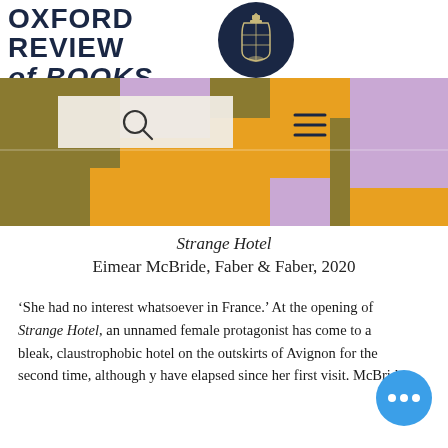OXFORD REVIEW of BOOKS
[Figure (illustration): Abstract colourful banner image with purple, orange/gold, and olive geometric shapes resembling an abstract cityscape, with search icon and hamburger menu overlay]
Strange Hotel
Eimear McBride, Faber & Faber, 2020
'She had no interest whatsoever in France.' At the opening of Strange Hotel, an unnamed female protagonist has come to a bleak, claustrophobic hotel on the outskirts of Avignon for the second time, although y have elapsed since her first visit. McBride